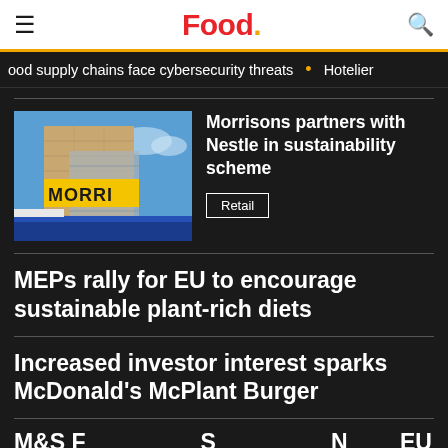Food.
ood supply chains face cybersecurity threats • Hotelier
Morrisons partners with Nestle in sustainability scheme
Retail
MEPs rally for EU to encourage sustainable plant-rich diets
Increased investor interest sparks McDonald's McPlant Burger
M&S F... (partial)